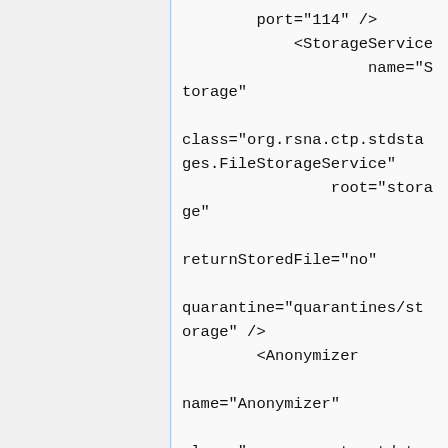port="114" />
            <StorageService
                    name="Storage"

class="org.rsna.ctp.stdstages.FileStorageService"
                root="storage"

returnStoredFile="no"

quarantine="quarantines/storage" />
        <Anonymizer

name="Anonymizer"

class="org.rsna.ctp.stdstages.DicomAnonymizer"

root="roots/anonymizer"

script="scripts/da.script"

quarantine="quarantines/anonymizer" />
            <ExportService